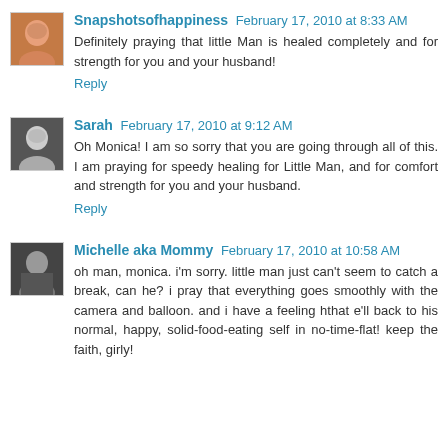Snapshotsofhappiness February 17, 2010 at 8:33 AM
Definitely praying that little Man is healed completely and for strength for you and your husband!
Reply
Sarah February 17, 2010 at 9:12 AM
Oh Monica! I am so sorry that you are going through all of this. I am praying for speedy healing for Little Man, and for comfort and strength for you and your husband.
Reply
Michelle aka Mommy February 17, 2010 at 10:58 AM
oh man, monica. i'm sorry. little man just can't seem to catch a break, can he? i pray that everything goes smoothly with the camera and balloon. and i have a feeling hthat e'll back to his normal, happy, solid-food-eating self in no-time-flat! keep the faith, girly!